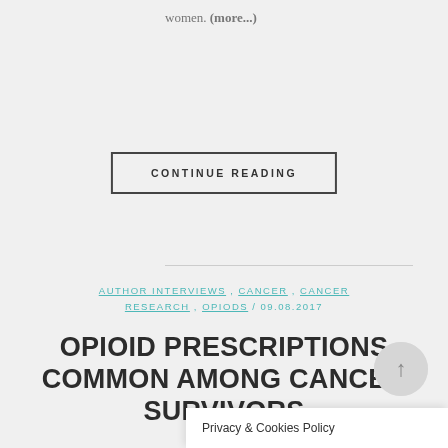women. (more...)
CONTINUE READING
AUTHOR INTERVIEWS , CANCER , CANCER RESEARCH , OPIODS / 09.08.2017
OPIOID PRESCRIPTIONS COMMON AMONG CANCER SURVIVORS
MedicalResearch.com Interview with: Rinku Sutradhar, Ph.D. Senior Scientist Institute for Clini…
Privacy & Cookies Policy